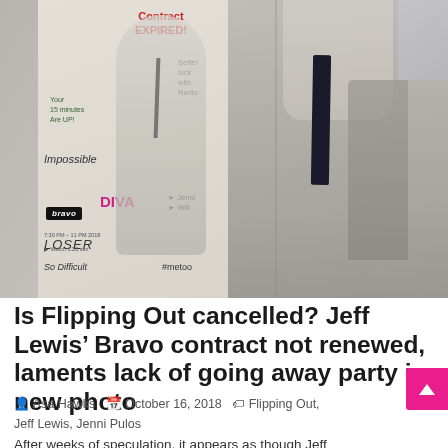[Figure (photo): A man in a grey suit and dark tie standing in an office next to a whiteboard/poster with text including 'Contract EXPIRED!', 'Better luck with Radio', 'Impossible', 'DIVA', 'LOSER', 'So Difficult', '#metoo', and a Bravo logo.]
Is Flipping Out cancelled? Jeff Lewis' Bravo contract not renewed, laments lack of going away party in new photo
Asa Hawks  October 16, 2018  Flipping Out, Jeff Lewis, Jenni Pulos
After weeks of speculation, it appears as though Jeff